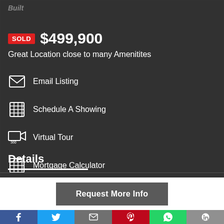Built
SOLD $499,900
Great Location close to many Amenitites
Email Listing
Schedule A Showing
Virtual Tour
Mortgage Calculator
Details
Request More Info